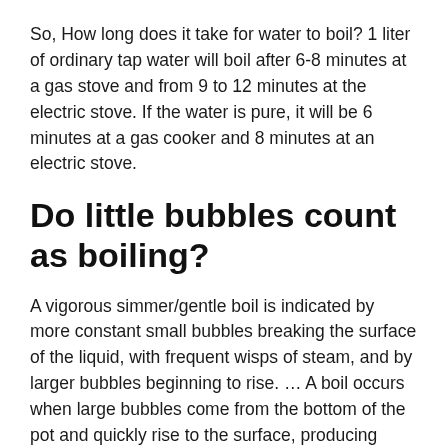So, How long does it take for water to boil? 1 liter of ordinary tap water will boil after 6-8 minutes at a gas stove and from 9 to 12 minutes at the electric stove. If the water is pure, it will be 6 minutes at a gas cooker and 8 minutes at an electric stove.
Do little bubbles count as boiling?
A vigorous simmer/gentle boil is indicated by more constant small bubbles breaking the surface of the liquid, with frequent wisps of steam, and by larger bubbles beginning to rise. … A boil occurs when large bubbles come from the bottom of the pot and quickly rise to the surface, producing constant